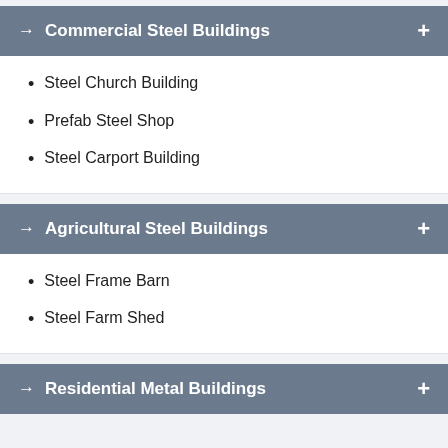Commercial Steel Buildings
Steel Church Building
Prefab Steel Shop
Steel Carport Building
Agricultural Steel Buildings
Steel Frame Barn
Steel Farm Shed
Residential Metal Buildings